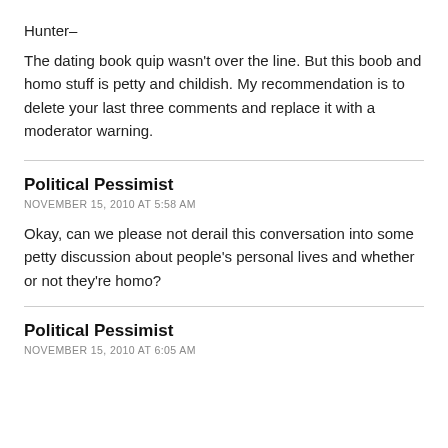Hunter–
The dating book quip wasn't over the line. But this boob and homo stuff is petty and childish. My recommendation is to delete your last three comments and replace it with a moderator warning.
Political Pessimist
NOVEMBER 15, 2010 AT 5:58 AM
Okay, can we please not derail this conversation into some petty discussion about people's personal lives and whether or not they're homo?
Political Pessimist
NOVEMBER 15, 2010 AT 6:05 AM